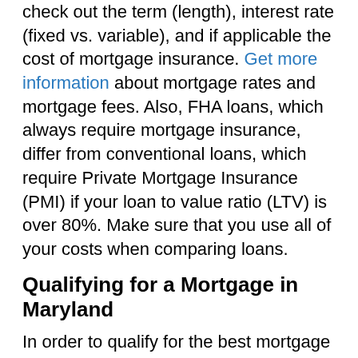check out the term (length), interest rate (fixed vs. variable), and if applicable the cost of mortgage insurance. Get more information about mortgage rates and mortgage fees. Also, FHA loans, which always require mortgage insurance, differ from conventional loans, which require Private Mortgage Insurance (PMI) if your loan to value ratio (LTV) is over 80%. Make sure that you use all of your costs when comparing loans.
Qualifying for a Mortgage in Maryland
In order to qualify for the best mortgage rates in Maryland it is important to have an excellent credit score. Also, you want to make sure that your debt to income ratio (DTI) and your downpayment or equity position , your loan to value ratio (LTV) are sufficient to qualify. Read this Bills.com article about qualifying for a mortgage.
Mortgage Resources for Maryland